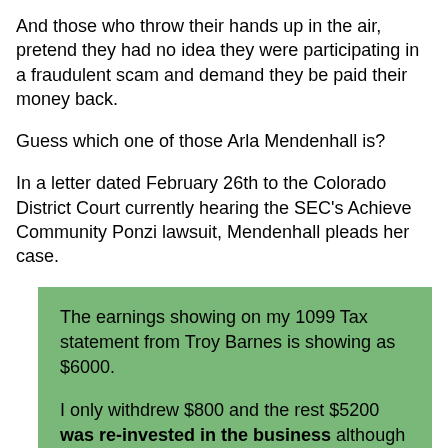And those who throw their hands up in the air, pretend they had no idea they were participating in a fraudulent scam and demand they be paid their money back.
Guess which one of those Arla Mendenhall is?
In a letter dated February 26th to the Colorado District Court currently hearing the SEC's Achieve Community Ponzi lawsuit, Mendenhall pleads her case.
The earnings showing on my 1099 Tax statement from Troy Barnes is showing as $6000.

I only withdrew $800 and the rest $5200 was re-invested in the business although I had to pay $6000 in taxes.

I would appreciate getting reinbursed (sic) for my losses in this business.